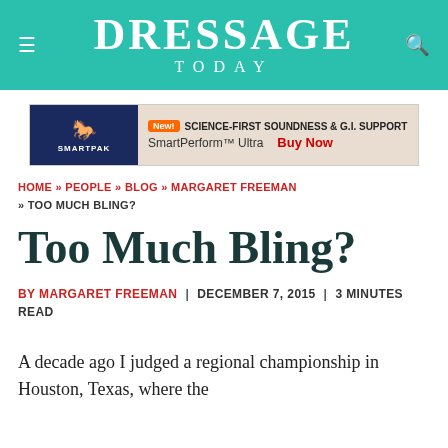DRESSAGE TODAY
[Figure (screenshot): SmartPak advertisement banner: New! Science-First Soundness & G.I. Support — SmartPerform Ultra — Buy Now]
HOME » PEOPLE » BLOG » MARGARET FREEMAN » TOO MUCH BLING?
Too Much Bling?
BY MARGARET FREEMAN | DECEMBER 7, 2015 | 3 MINUTES READ
A decade ago I judged a regional championship in Houston, Texas, where the